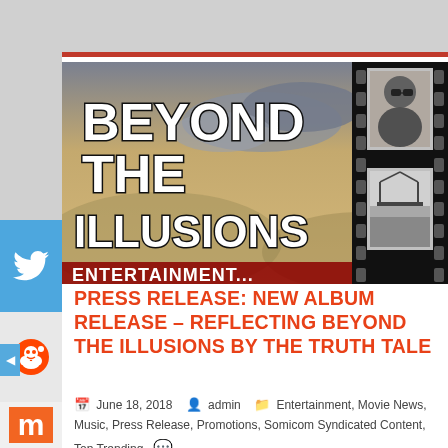[Figure (photo): Album artwork for 'Beyond The Illusions' by The Truth Tale, showing bold stylized text over a golden-toned landscape background with film strip frames containing black and white photos of a man in sunglasses and a landscape with water and bridge]
PRESS RELEASE: NEW ALBUM RELEASE – REFLECTING BEYOND THE ILLUSIONS BY THE TRUTH TALE
June 18, 2018   admin   Entertainment, Movie News, Music, Press Release, Promotions, Somicom Syndicated Content, Top Trending   Comments Off
New Album Release: Reflecting Beyond the